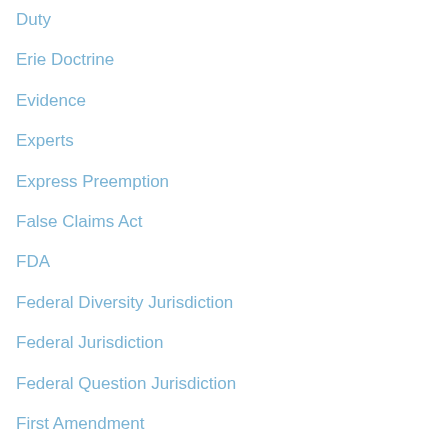Duty
Erie Doctrine
Evidence
Experts
Express Preemption
False Claims Act
FDA
Federal Diversity Jurisdiction
Federal Jurisdiction
Federal Question Jurisdiction
First Amendment
Forum non conveniens